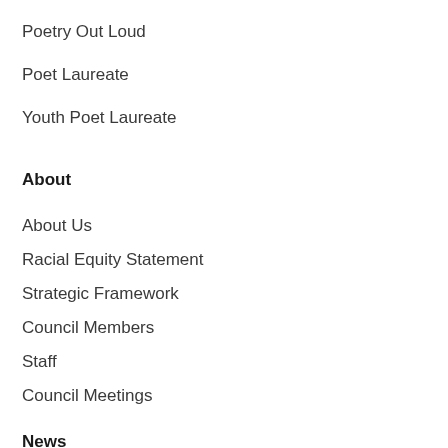Poetry Out Loud
Poet Laureate
Youth Poet Laureate
About
About Us
Racial Equity Statement
Strategic Framework
Council Members
Staff
Council Meetings
Work With Us
Calendar
News